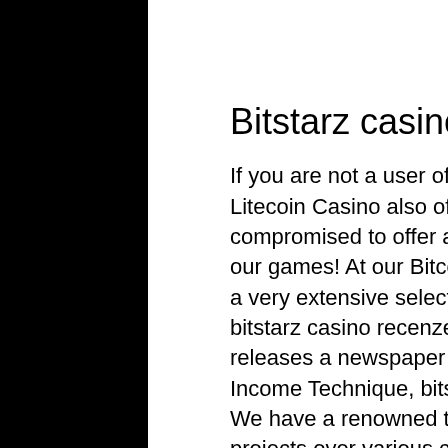Bitstarz casino recenze
If you are not a user of BTC, don't you worry, cause Rocketpot Litecoin Casino also offers the option of Litecoin Slots! We are compromised to offer all the options of crypto available for all our games! At our Bitcoin Cash Casino you will get access to a very extensive selection of games from multiple providers, bitstarz casino recenze. November 2008: Satoshinakamoto releases a newspaper titled Bitcoin: A Peertopeer Electronic Income Technique, bitstarz casino recenze.
We have a renowned team capable of delivering multiple projects over various cutting edge technologies, bitstarz casino
[Figure (other): Gray circular phone/call button icon in the bottom right area of the page]